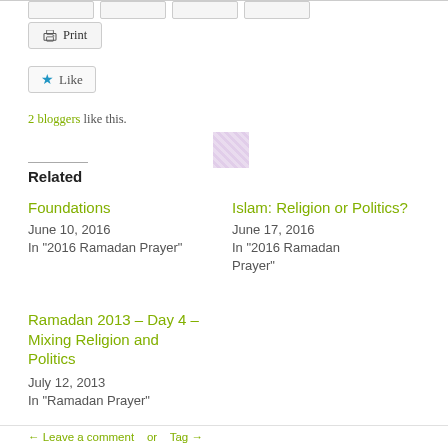[Figure (screenshot): Top button bar with multiple grey buttons]
[Figure (screenshot): Print button with printer icon]
[Figure (screenshot): Like button with blue star icon and avatar placeholder]
2 bloggers like this.
Related
Foundations
June 10, 2016
In "2016 Ramadan Prayer"
Islam: Religion or Politics?
June 17, 2016
In "2016 Ramadan Prayer"
Ramadan 2013 – Day 4 – Mixing Religion and Politics
July 12, 2013
In "Ramadan Prayer"
← Leave a comment   or   Tag →